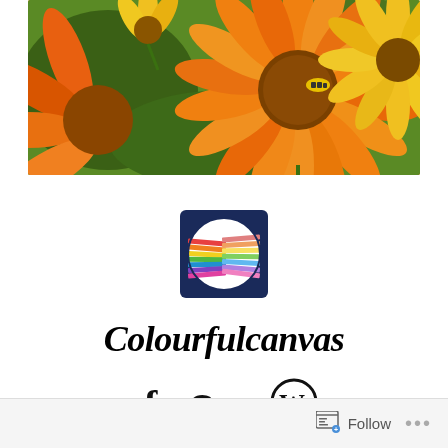[Figure (photo): Close-up photo of orange and yellow marigold/calendula flowers with a bee visible on the large central flower, green foliage in background]
[Figure (logo): Colourfulcanvas logo: dark navy blue square with a circular design showing colorful pencils arranged in an S-curve pattern on white background]
Colourfulcanvas
[Figure (infographic): Social media icons: Facebook 'f', Google+ 'G+', and WordPress circle logo]
Follow ...